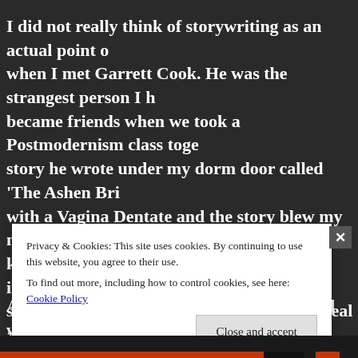I did not really think of storywriting as an actual point of when I met Garrett Cook. He was the strangest person I h became friends when we took a Postmodernism class toge story he wrote under my dorm door called 'The Ashen Bri with a Vagina Dentate and the story blew my mind. I worri kinda sexual deviant, but mostly, I was impressed with hi stories made me want to write my own surreal and grotes tales.
At the time, I was mostly getting stoned and writing endl consciousness, inspired by people like Jack Kerouac and A
Privacy & Cookies: This site uses cookies. By continuing to use this website, you agree to their use.
To find out more, including how to control cookies, see here: Cookie Policy